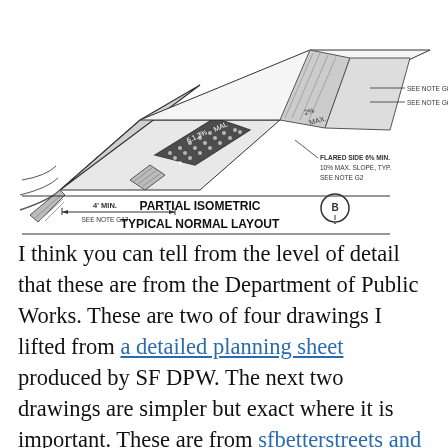[Figure (engineering-diagram): Partial isometric view of a typical normal curb ramp layout showing tactile warning surface, dimensions (4' MIN), flared sides with 6% min 10% max slope, and notes referencing G2, G6, G8, G17. Label reads 'PARTIAL ISOMETRIC TYPICAL NORMAL LAYOUT' with a circled B reference marker.]
I think you can tell from the level of detail that these are from the Department of Public Works. These are two of four drawings I lifted from a detailed planning sheet produced by SF DPW. The next two drawings are simpler but exact where it is important. These are from sfbetterstreets and you can read much more at